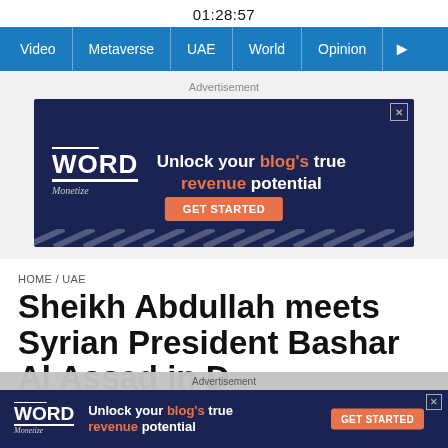01:28:57
Video | Metaverse | UAE | World | Opinion | >
[Figure (other): Advertisement banner for WordMonetize: Unlock your blog's true revenue potential. GET STARTED button.]
HOME / UAE
Sheikh Abdullah meets Syrian President Bashar Al Assad in D...
[Figure (other): Bottom advertisement banner for WordMonetize: Unlock your blog's true revenue potential. GET STARTED button.]